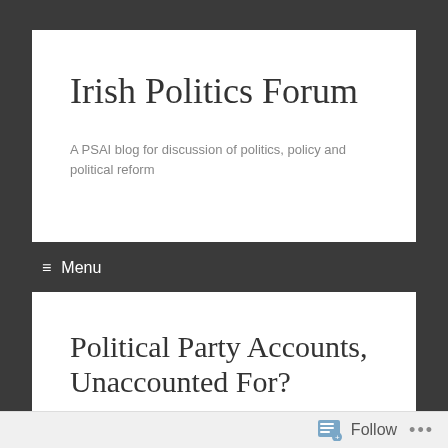Irish Politics Forum
A PSAI blog for discussion of politics, policy and political reform
≡ Menu
Political Party Accounts, Unaccounted For?
ElaineByrne / January 31, 2014